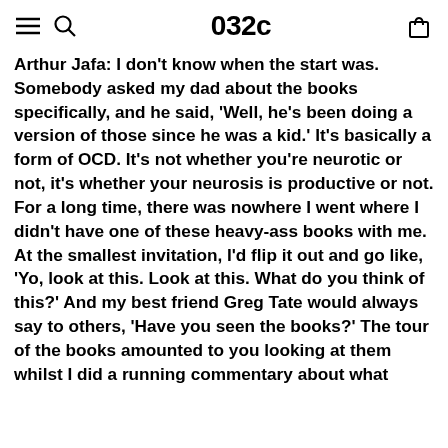032c
Arthur Jafa: I don't know when the start was. Somebody asked my dad about the books specifically, and he said, 'Well, he's been doing a version of those since he was a kid.' It's basically a form of OCD. It's not whether you're neurotic or not, it's whether your neurosis is productive or not. For a long time, there was nowhere I went where I didn't have one of these heavy-ass books with me. At the smallest invitation, I'd flip it out and go like, 'Yo, look at this. Look at this. What do you think of this?' And my best friend Greg Tate would always say to others, 'Have you seen the books?' The tour of the books amounted to you looking at them whilst I did a running commentary about what